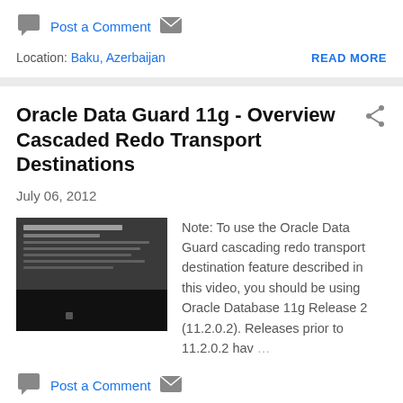Post a Comment
READ MORE
Location: Baku, Azerbaijan
Oracle Data Guard 11g - Overview Cascaded Redo Transport Destinations
July 06, 2012
[Figure (screenshot): Thumbnail screenshot of a document or presentation slide in grayscale]
Note: To use the Oracle Data Guard cascading redo transport destination feature described in this video, you should be using Oracle Database 11g Release 2 (11.2.0.2). Releases prior to 11.2.0.2 hav ...
Post a Comment
READ MORE
Location: Baku, Azerbaijan